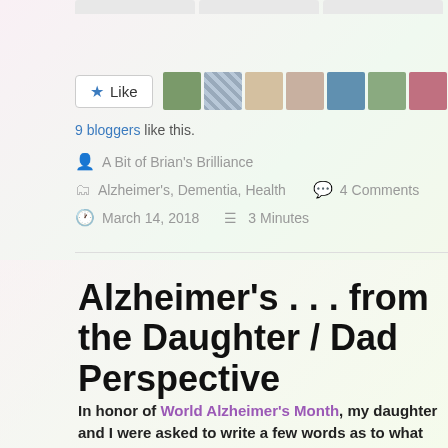[Figure (other): Row of 9 blogger avatar thumbnails next to a Like button]
9 bloggers like this.
A Bit of Brian's Brilliance
Alzheimer's, Dementia, Health   4 Comments
March 14, 2018   3 Minutes
Alzheimer's . . . from the Daughter / Dad Perspective
In honor of World Alzheimer's Month, my daughter and I were asked to write a few words as to what it's like to be a Dad with Alzheimer's and a Daughter of a Dad with